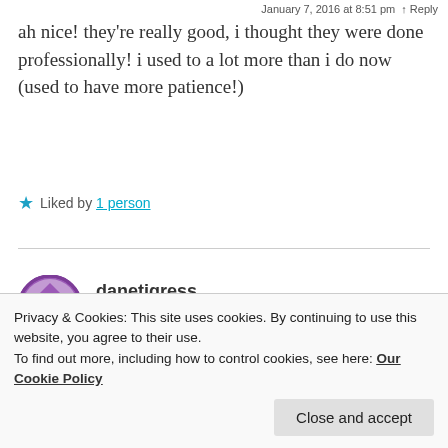January 7, 2016 at 8:51 pm · Reply
ah nice! they're really good, i thought they were done professionally! i used to a lot more than i do now (used to have more patience!)
Liked by 1 person
danetigress
January 7, 2016 at 9:11 pm
Privacy & Cookies: This site uses cookies. By continuing to use this website, you agree to their use.
To find out more, including how to control cookies, see here: Our Cookie Policy